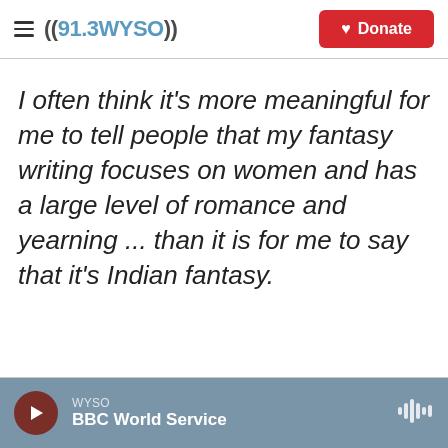((91.3WYSO)) | Donate
I often think it's more meaningful for me to tell people that my fantasy writing focuses on women and has a large level of romance and yearning ... than it is for me to say that it's Indian fantasy.
WYSO | BBC World Service